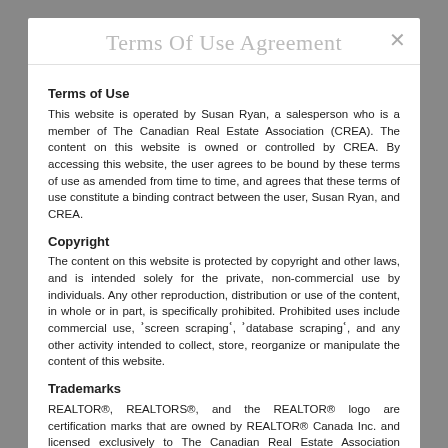Terms Of Use Agreement
Terms of Use
This website is operated by Susan Ryan, a salesperson who is a member of The Canadian Real Estate Association (CREA). The content on this website is owned or controlled by CREA. By accessing this website, the user agrees to be bound by these terms of use as amended from time to time, and agrees that these terms of use constitute a binding contract between the user, Susan Ryan, and CREA.
Copyright
The content on this website is protected by copyright and other laws, and is intended solely for the private, non-commercial use by individuals. Any other reproduction, distribution or use of the content, in whole or in part, is specifically prohibited. Prohibited uses include commercial use, 'screen scraping', 'database scraping', and any other activity intended to collect, store, reorganize or manipulate the content of this website.
Trademarks
REALTOR®, REALTORS®, and the REALTOR® logo are certification marks that are owned by REALTOR® Canada Inc. and licensed exclusively to The Canadian Real Estate Association (CREA). These certification marks identify real estate professionals who are members of CREA and who must abide by CREA's By-Laws, Rules, and the REALTOR® Code. The MLS® trademark and